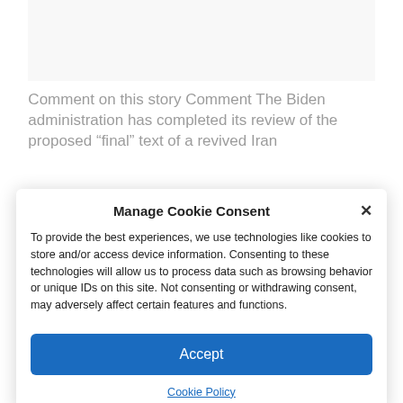[Figure (screenshot): Gray image placeholder at top of article]
Comment on this story Comment The Biden administration has completed its review of the proposed “final” text of a revived Iran
Manage Cookie Consent
To provide the best experiences, we use technologies like cookies to store and/or access device information. Consenting to these technologies will allow us to process data such as browsing behavior or unique IDs on this site. Not consenting or withdrawing consent, may adversely affect certain features and functions.
Accept
Cookie Policy